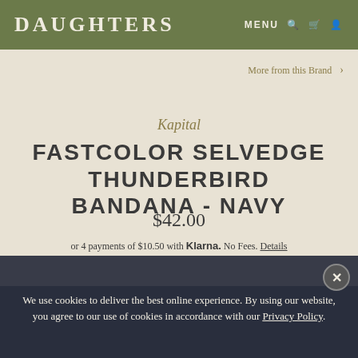DAUGHTERS | MENU
More from this Brand >
Kapital
FASTCOLOR SELVEDGE THUNDERBIRD BANDANA - NAVY
$42.00
or 4 payments of $10.50 with Klarna. No Fees. Details
We use cookies to deliver the best online experience. By using our website, you agree to our use of cookies in accordance with our Privacy Policy.